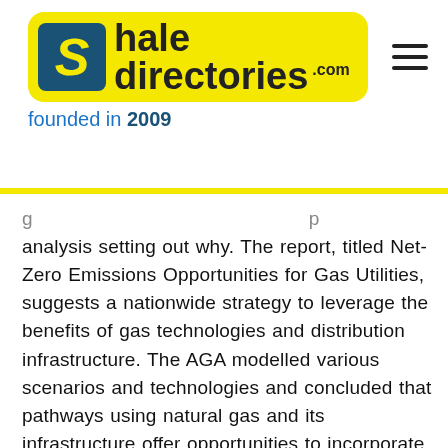[Figure (logo): ShalDirectories.com logo on yellow pill background with blue S box, founded in 2009 tagline below]
analysis setting out why. The report, titled Net-Zero Emissions Opportunities for Gas Utilities, suggests a nationwide strategy to leverage the benefits of gas technologies and distribution infrastructure. The AGA modelled various scenarios and technologies and concluded that pathways using natural gas and its infrastructure offer opportunities to incorporate renewable and low-carbon gases, give customers choice and help